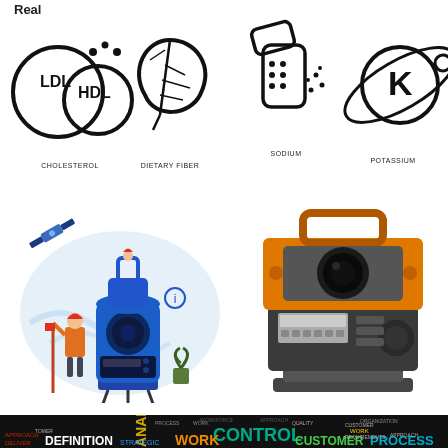Real
[Figure (illustration): Four black icons: LDL/HDL cholesterol bubble, leaf dietary fiber, salt shaker sodium, K potassium symbol. Labels below each: CHOLESTEROL, DIETARY FIBER, SODIUM, POTASSIUM]
[Figure (illustration): Blue total station surveying instrument with construction worker and satellite illustration]
[Figure (illustration): Orange and gray total station surveying instrument, detailed front view]
[Figure (infographic): Word cloud on black background with words: CONTROL, WORK, ANALYSIS, DEFINITION, PROCESS, CUSTOMER, QUALITY, MANAGEMENT, STRATEGIC, ORGANIZATION, APPROACH, DELIVER, EFFORT, PRODUCTS, WORKFORCE, REQUIREMENTS, TOTAL and more in various colors]